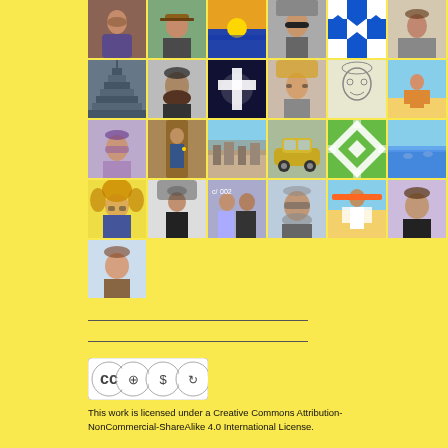[Figure (photo): Grid of approximately 36 profile/avatar photos arranged in 5 rows of 7 columns on a yellow background. Photos show various people, landscapes, symbolic images, and avatars.]
[Figure (logo): Creative Commons BY-NC-SA license badge]
This work is licensed under a Creative Commons Attribution-NonCommercial-ShareAlike 4.0 International License.